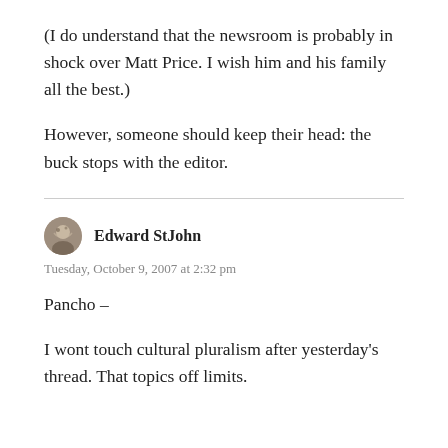(I do understand that the newsroom is probably in shock over Matt Price. I wish him and his family all the best.)
However, someone should keep their head: the buck stops with the editor.
Edward StJohn
Tuesday, October 9, 2007 at 2:32 pm
Pancho –
I wont touch cultural pluralism after yesterday's thread. That topics off limits.